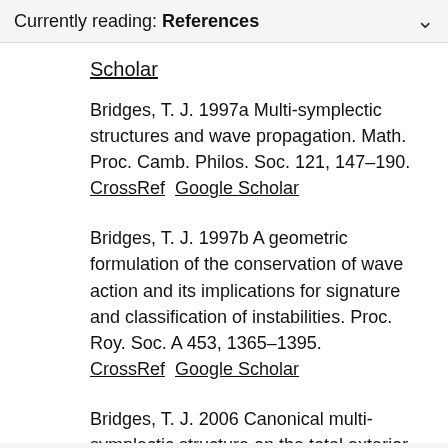Currently reading: References
Scholar
Bridges, T. J. 1997a Multi-symplectic structures and wave propagation. Math. Proc. Camb. Philos. Soc. 121, 147–190. CrossRef  Google Scholar
Bridges, T. J. 1997b A geometric formulation of the conservation of wave action and its implications for signature and classification of instabilities. Proc. Roy. Soc. A 453, 1365–1395. CrossRef  Google Scholar
Bridges, T. J. 2006 Canonical multi-symplectic structure on the total exterior algebra bundle. Proc. Roy. Soc.